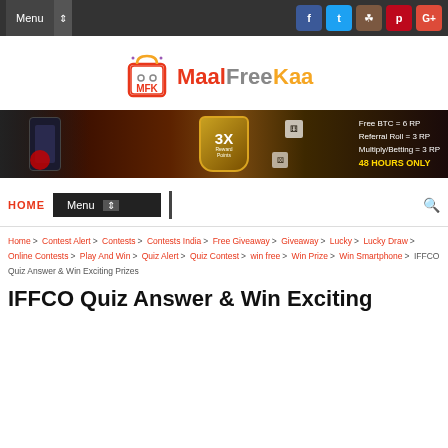Menu | Social icons: Facebook, Twitter, Instagram, Pinterest, Google+
[Figure (logo): MaalFreeKaa logo with MFK bag icon and colorful text]
[Figure (infographic): Banner ad: 3X Reward Points - Free BTC = 6 RP, Referral Roll = 3 RP, Multiply/Betting = 3 RP. 48 HOURS ONLY]
HOME | Menu | Search
Home > Contest Alert > Contests > Contests India > Free Giveaway > Giveaway > Lucky > Lucky Draw > Online Contests > Play And Win > Quiz Alert > Quiz Contest > win free > Win Prize > Win Smartphone > IFFCO Quiz Answer & Win Exciting Prizes
IFFCO Quiz Answer & Win Exciting